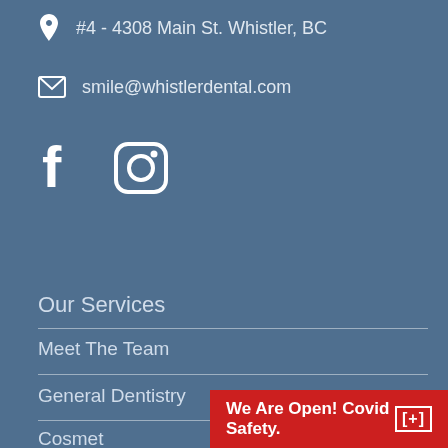#4 - 4308 Main St. Whistler, BC
smile@whistlerdental.com
[Figure (logo): Facebook and Instagram social media icons in white]
Our Services
Meet The Team
General Dentistry
Cosmet
We Are Open! Covid Safety.